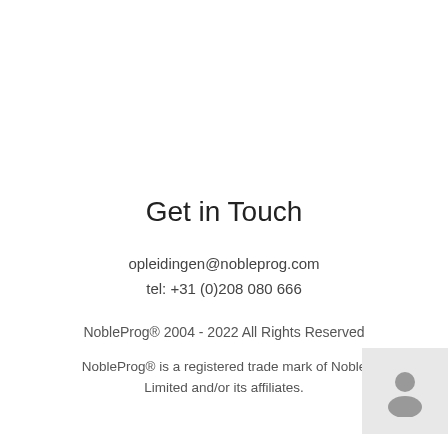Get in Touch
opleidingen@nobleprog.com
tel: +31 (0)208 080 666
NobleProg® 2004 - 2022 All Rights Reserved
NobleProg® is a registered trade mark of Noble Limited and/or its affiliates.
[Figure (illustration): Gray avatar/person icon on light gray background, bottom right corner]